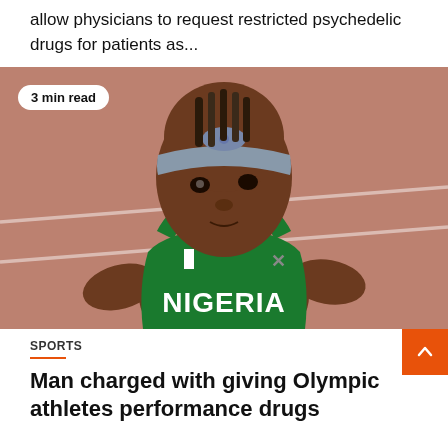allow physicians to request restricted psychedelic drugs for patients as...
[Figure (photo): Female Nigerian sprinter athlete wearing green NIGERIA team vest with Nigerian flag badge, gray headband with bow, at a running track. Badge overlay reads '3 min read'.]
SPORTS
Man charged with giving Olympic athletes performance drugs | CBC Sports